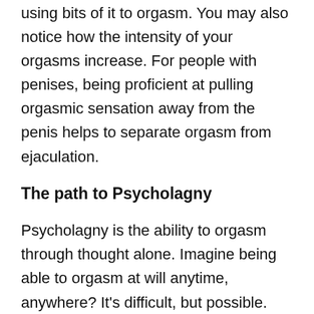using bits of it to orgasm. You may also notice how the intensity of your orgasms increase. For people with penises, being proficient at pulling orgasmic sensation away from the penis helps to separate orgasm from ejaculation.
The path to Psycholagny
Psycholagny is the ability to orgasm through thought alone. Imagine being able to orgasm at will anytime, anywhere? It's difficult, but possible. Here's some guidance.
Psycholagny also includes orgasm control through association by repeating a certain sound or act during orgasm until they occur together automatically. Some only use fantasy, others use sounds or music and even hypnotism. These are however still indirect